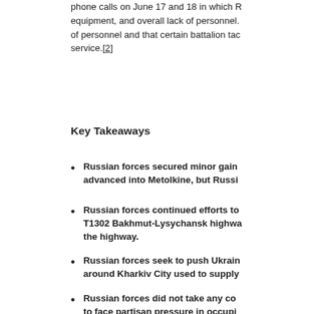phone calls on June 17 and 18 in which R... equipment, and overall lack of personnel. of personnel and that certain battalion tac... service.[2]
Key Takeaways
Russian forces secured minor gain... advanced into Metolkine, but Russi...
Russian forces continued efforts to... T1302 Bakhmut-Lysychansk highwa... the highway.
Russian forces seek to push Ukrain... around Kharkiv City used to supply...
Russian forces did not take any co... to face partisan pressure in occupi...
[Figure (other): Dark teal banner with bold white italic text reading 'Assessed Control o... and Main Russia... as of June 18, 2...']